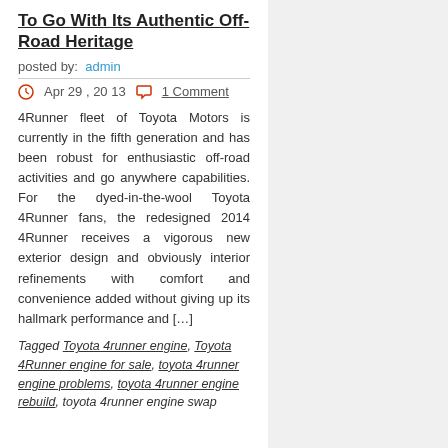To Go With Its Authentic Off-Road Heritage
posted by: admin
Apr 29, 2013   1 Comment
4Runner fleet of Toyota Motors is currently in the fifth generation and has been robust for enthusiastic off-road activities and go anywhere capabilities. For the dyed-in-the-wool Toyota 4Runner fans, the redesigned 2014 4Runner receives a vigorous new exterior design and obviously interior refinements with comfort and convenience added without giving up its hallmark performance and […]
Tagged Toyota 4runner engine, Toyota 4Runner engine for sale, toyota 4runner engine problems, toyota 4runner engine rebuild, toyota 4runner engine swap